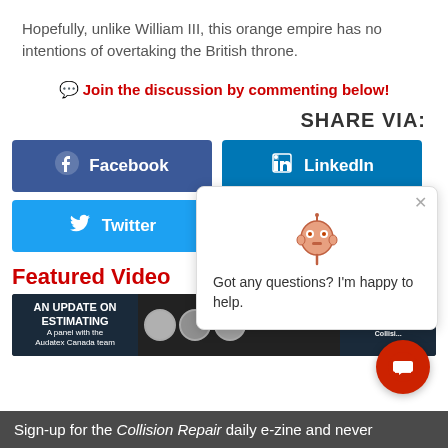Hopefully, unlike William III, this orange empire has no intentions of overtaking the British throne.
Join the discussion by commenting below!
SHARE VIA:
[Figure (screenshot): Facebook and LinkedIn share buttons]
[Figure (screenshot): Twitter and Email share buttons]
Featured Video
[Figure (screenshot): AN UPDATE ON ESTIMATING webinar banner with panel photos and WATCH NOW button]
Sign-up for the Collision Repair daily e-zine and never
[Figure (screenshot): Chat popup with robot icon and message: Got any questions? I'm happy to help.]